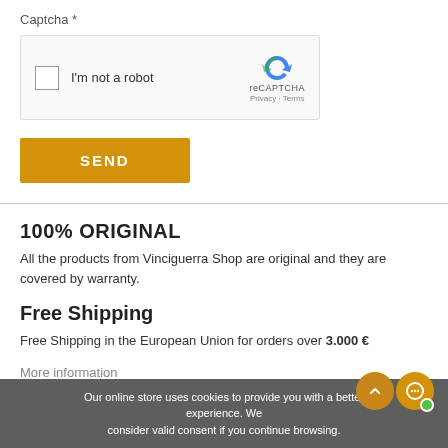Captcha *
[Figure (screenshot): reCAPTCHA widget with checkbox labeled 'I'm not a robot' and reCAPTCHA logo with Privacy · Terms links]
SEND
100% ORIGINAL
All the products from Vinciguerra Shop are original and they are covered by warranty.
Free Shipping
Free Shipping in the European Union for orders over 3.000 €
More information
Our online store uses cookies to provide you with a better experience. We consider valid consent if you continue browsing.